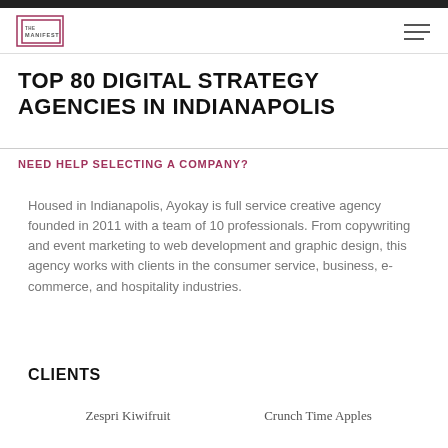THE MANIFEST
TOP 80 DIGITAL STRATEGY AGENCIES IN INDIANAPOLIS
NEED HELP SELECTING A COMPANY?
Housed in Indianapolis, Ayokay is full service creative agency founded in 2011 with a team of 10 professionals. From copywriting and event marketing to web development and graphic design, this agency works with clients in the consumer service, business, e-commerce, and hospitality industries.
CLIENTS
Zespri Kiwifruit    Crunch Time Apples